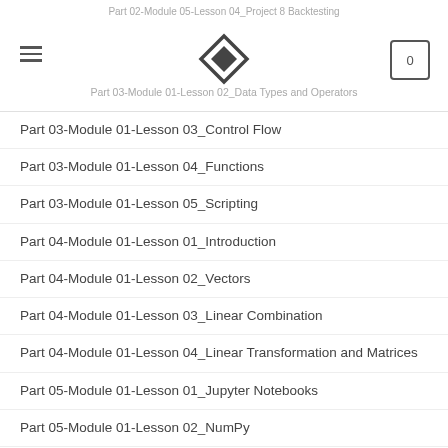Part 02-Module 05-Lesson 04_Project 8 Backtesting
Part 03-Module 01-Lesson 01_Why Python Programming
Part 03-Module 01-Lesson 02_Data Types and Operators
Part 03-Module 01-Lesson 03_Control Flow
Part 03-Module 01-Lesson 04_Functions
Part 03-Module 01-Lesson 05_Scripting
Part 04-Module 01-Lesson 01_Introduction
Part 04-Module 01-Lesson 02_Vectors
Part 04-Module 01-Lesson 03_Linear Combination
Part 04-Module 01-Lesson 04_Linear Transformation and Matrices
Part 05-Module 01-Lesson 01_Jupyter Notebooks
Part 05-Module 01-Lesson 02_NumPy
Part 05-Module 01-Lesson 03_Pandas
Part 06-Module 01-Lesson 01_Descriptive Statistics – Part I
Part 06-Module 01-Lesson 02_Descriptive Statistics – Part II
Part 06-Module 01-Lesson 03_Admissions Case Study
Part 06-Module 01-Lesson 04_Probability